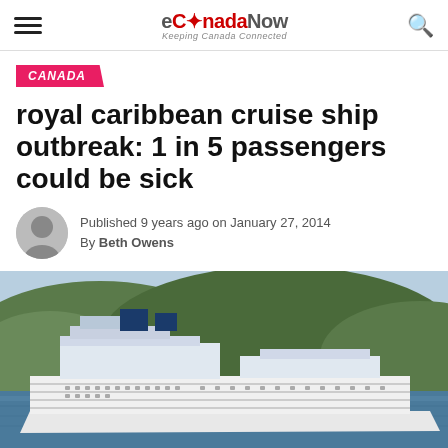eCanadaNow — Keeping Canada Connected
CANADA
royal caribbean cruise ship outbreak: 1 in 5 passengers could be sick
Published 9 years ago on January 27, 2014
By Beth Owens
[Figure (photo): A large Royal Caribbean cruise ship sailing in a tropical harbor with green hills in the background]